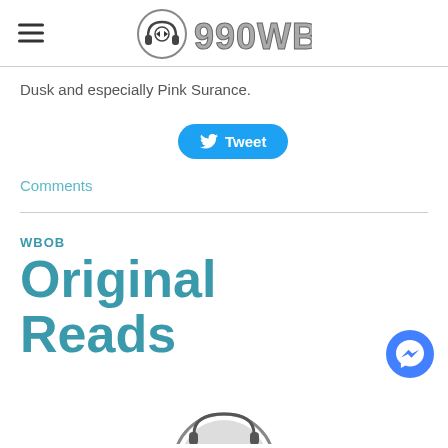990WBOB
Dusk and especially Pink Surance.
Tweet
Comments
WBOB
Original Reads
[Figure (logo): Partial circular logo/icon at bottom center of page]